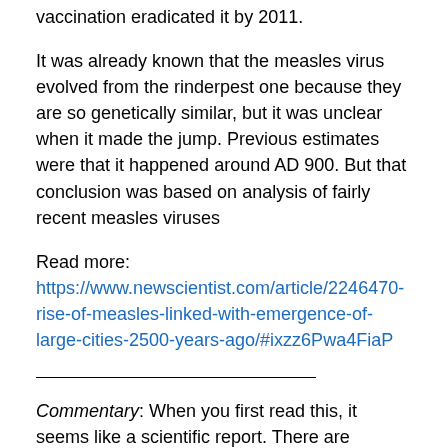vaccination eradicated it by 2011.
It was already known that the measles virus evolved from the rinderpest one because they are so genetically similar, but it was unclear when it made the jump. Previous estimates were that it happened around AD 900. But that conclusion was based on analysis of fairly recent measles viruses
Read more: https://www.newscientist.com/article/2246470-rise-of-measles-linked-with-emergence-of-large-cities-2500-years-ago/#ixzz6Pwa4FiaP
Commentary: When you first read this, it seems like a scientific report. There are statements made like they are the determined truth. As an example "The measles virus